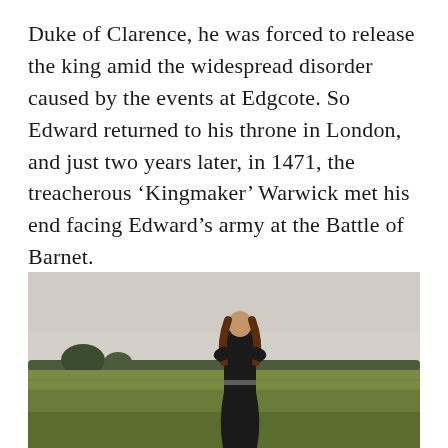Duke of Clarence, he was forced to release the king amid the widespread disorder caused by the events at Edgcote. So Edward returned to his throne in London, and just two years later, in 1471, the treacherous ‘Kingmaker’ Warwick met his end facing Edward’s army at the Battle of Barnet.
[Figure (photo): A woman with long auburn hair dressed in black medieval-style clothing stands with arms crossed in a green field. Trees are visible in the background under an overcast sky.]